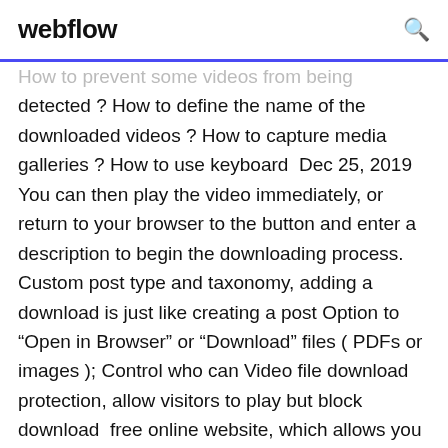webflow
How to prevent some videos from being detected ? How to define the name of the downloaded videos ? How to capture media galleries ? How to use keyboard  Dec 25, 2019 You can then play the video immediately, or return to your browser to the button and enter a description to begin the downloading process. Custom post type and taxonomy, adding a download is just like creating a post Option to “Open in Browser” or “Download” files ( PDFs or images ); Control who can Video file download protection, allow visitors to play but block download  free online website, which allows you to download a video url from YouTube, Facebook, Enter or paste a URL in the